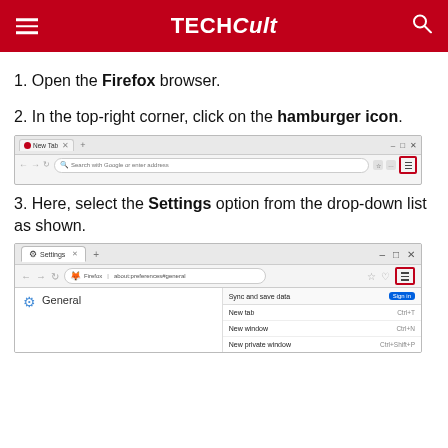TECHCult
1. Open the Firefox browser.
2. In the top-right corner, click on the hamburger icon.
[Figure (screenshot): Firefox browser window showing the toolbar with hamburger icon highlighted in a red box in the top-right corner]
3. Here, select the Settings option from the drop-down list as shown.
[Figure (screenshot): Firefox browser window showing Settings tab open with hamburger menu expanded showing options: Sync and save data (Sign in), New tab (Ctrl+T), New window (Ctrl+N), New private window (Ctrl+Shift+P)]